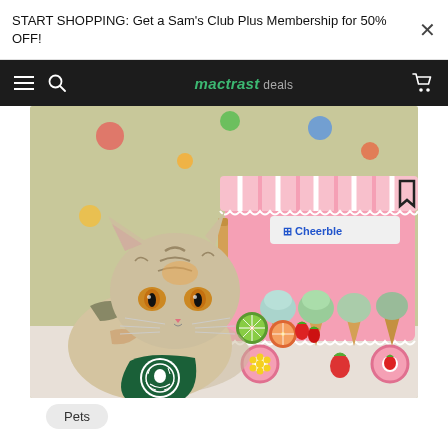START SHOPPING: Get a Sam's Club Plus Membership for 50% OFF!
mactrast deals
[Figure (photo): A cat wearing a small Starbucks apron lying next to a pink toy ice cream cart with wooden ice cream scoops and fruits. The Cheerble brand logo is visible on the cart. Colorful bokeh lights in the background.]
Pets